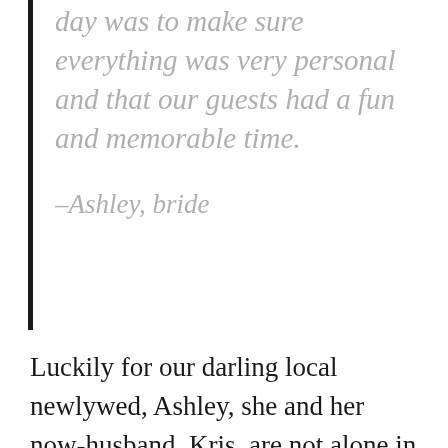day was to make sure everything was very personal and that our guests had a fun and memorable time.

–Ashley, bride
Luckily for our darling local newlywed, Ashley, she and her now-husband, Kris, are not alone in that desire. With thousands of weddings happening in New Mexico alone every year, it becomes less and less about brands, colors, antiquated